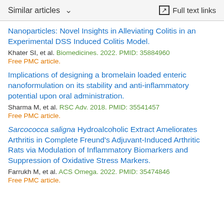Similar articles   ∨   Full text links
Nanoparticles: Novel Insights in Alleviating Colitis in an Experimental DSS Induced Colitis Model.
Khater SI, et al. Biomedicines. 2022. PMID: 35884960
Free PMC article.
Implications of designing a bromelain loaded enteric nanoformulation on its stability and anti-inflammatory potential upon oral administration.
Sharma M, et al. RSC Adv. 2018. PMID: 35541457
Free PMC article.
Sarcococca saligna Hydroalcoholic Extract Ameliorates Arthritis in Complete Freund's Adjuvant-Induced Arthritic Rats via Modulation of Inflammatory Biomarkers and Suppression of Oxidative Stress Markers.
Farrukh M, et al. ACS Omega. 2022. PMID: 35474846
Free PMC article.